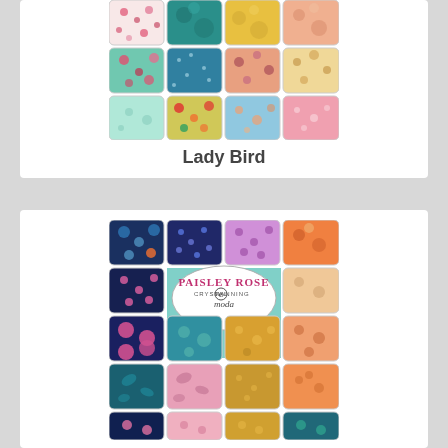[Figure (illustration): Lady Bird fabric collection grid showing 12 fabric swatches arranged in a 4x3 grid with floral and geometric patterns in teal, pink, coral, yellow, and mint colors]
Lady Bird
[Figure (illustration): Paisley Rose fabric collection by Crystal Manning for Moda, showing multiple fabric swatches in a grid with floral paisley patterns in navy, teal, pink, orange, purple, and gold colors, with an oval logo in the center]